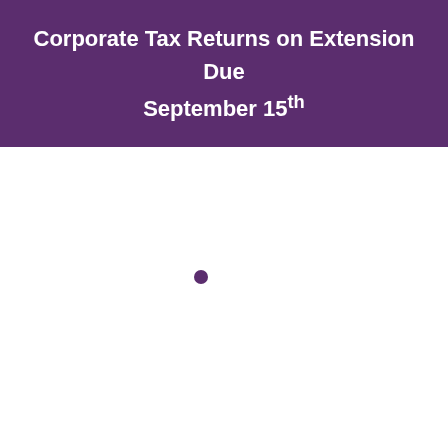Corporate Tax Returns on Extension Due September 15th
•